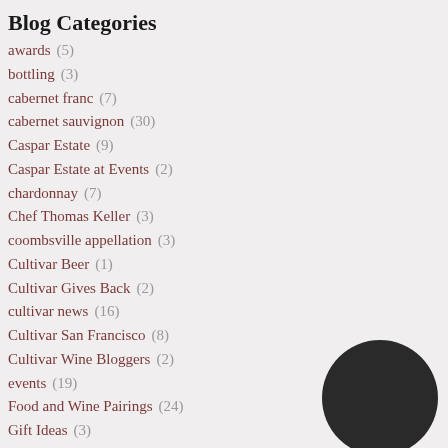Blog Categories
awards (5)
bottling (3)
cabernet franc (7)
cabernet sauvignon (30)
Caspar Estate (9)
Caspar Estate at Events (2)
chardonnay (7)
Chef Thomas Keller (3)
coombsville appellation (3)
Cultivar Beer (1)
Cultivar Gives Back (2)
cultivar news (16)
Cultivar San Francisco (8)
Cultivar Wine Bloggers (2)
events (19)
Food and Wine Pairings (24)
Gift Ideas (3)
holidays (10)
howell mountain appellation (6)
kegs (1)
Merlot (2)
napa valley cabernet sauvignon (12)
[Figure (illustration): Dark circle/sphere decorative element, bottom right corner]